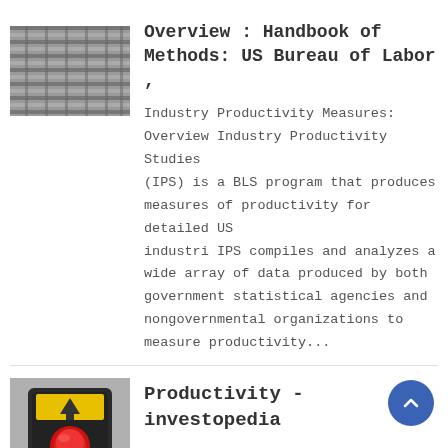[Figure (photo): Thumbnail image of building exterior with horizontal lines/blinds, grayscale]
Overview : Handbook of Methods: US Bureau of Labor ,
Industry Productivity Measures: Overview Industry Productivity Studies (IPS) is a BLS program that produces measures of productivity for detailed US industri IPS compiles and analyzes a wide array of data produced by both government statistical agencies and nongovernmental organizations to measure productivity...
[Figure (photo): Thumbnail image of a yellow industrial emergency stop button/box with red button]
Productivity - investopedia
Jul 14, 2019· Productivity, in economi measures output per unit of input, such